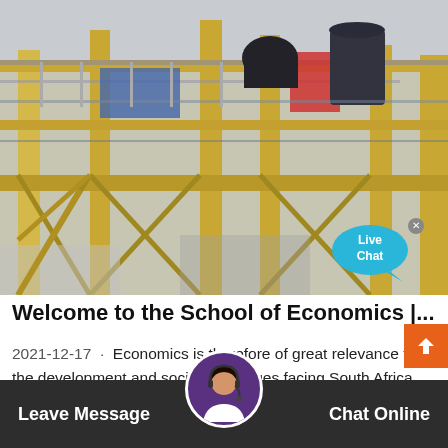[Figure (photo): Industrial facility or mining/crushing plant structure with yellow/tan metal framework, scaffolding, pipes, and heavy machinery on upper level against a grey sky. A 'Live Chat' speech bubble UI overlay appears in the lower right corner.]
Welcome to the School of Economics |...
2021-12-17 · Economics is therefore of great relevance to the development and social challenges facing South Africa. UCT economics degrees are very well regarded locally internationally. Our postgraduate students are widely accepted at universities. We attract a wide range of students...
Leave Message  Chat Online